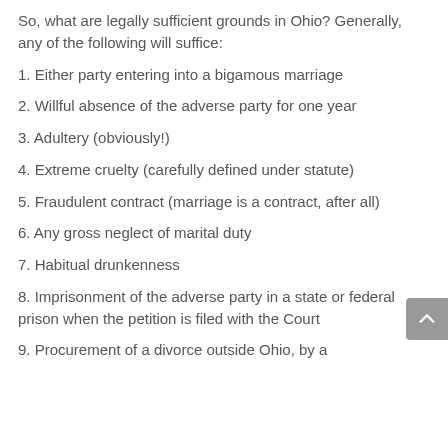So, what are legally sufficient grounds in Ohio? Generally, any of the following will suffice:
1. Either party entering into a bigamous marriage
2. Willful absence of the adverse party for one year
3. Adultery (obviously!)
4. Extreme cruelty (carefully defined under statute)
5. Fraudulent contract (marriage is a contract, after all)
6. Any gross neglect of marital duty
7. Habitual drunkenness
8. Imprisonment of the adverse party in a state or federal prison when the petition is filed with the Court
9. Procurement of a divorce outside Ohio, by a